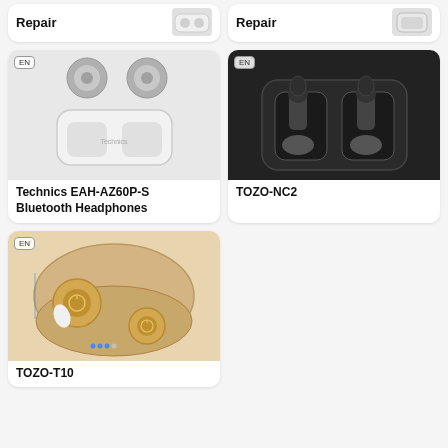[Figure (photo): Partial card showing 'Repair' text with small white earbuds image - left card, top]
[Figure (photo): Partial card showing 'Repair' text with small white case image - right card, top]
[Figure (photo): Technics EAH-AZ60P-S Bluetooth Headphones product card with EN badge and silver earbuds in white charging case]
[Figure (photo): TOZO-NC2 product card with EN badge and black wireless earbuds in dark charging case]
[Figure (photo): TOZO-T10 product card with EN badge and gold/champagne earbuds in oval charging case]